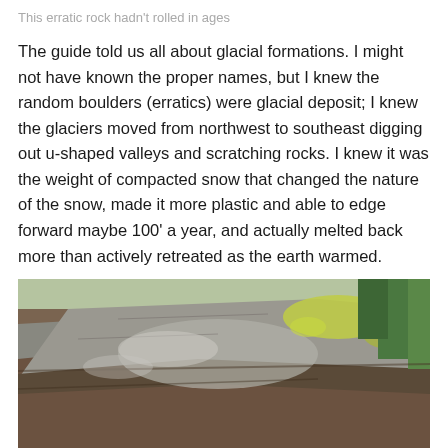This erratic rock hadn’t rolled in ages
The guide told us all about glacial formations. I might not have known the proper names, but I knew the random boulders (erratics) were glacial deposit; I knew the glaciers moved from northwest to southeast digging out u-shaped valleys and scratching rocks. I knew it was the weight of compacted snow that changed the nature of the snow, made it more plastic and able to edge forward maybe 100’ a year, and actually melted back more than actively retreated as the earth warmed.
[Figure (photo): Close-up photograph of a large erratic glacial rock with rough brown and grey stone surface, patches of yellow-green lichen, with trees visible in the background to the right.]